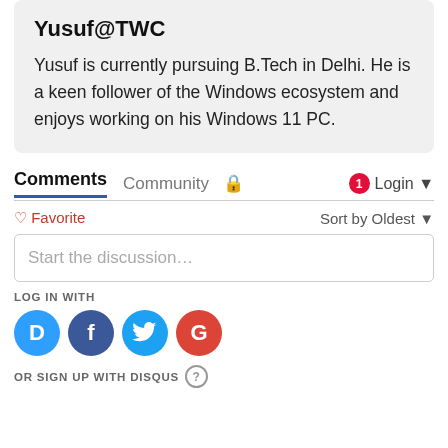Yusuf@TWC
Yusuf is currently pursuing B.Tech in Delhi. He is a keen follower of the Windows ecosystem and enjoys working on his Windows 11 PC.
Comments
Community
Login
Favorite
Sort by Oldest
Start the discussion…
LOG IN WITH
[Figure (infographic): Social login icons: Disqus (D), Facebook (f), Twitter bird, Google (G)]
OR SIGN UP WITH DISQUS